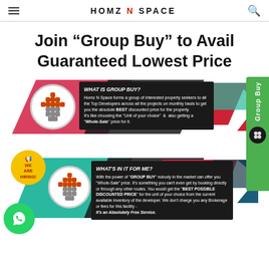HOMZ N SPACE
Join "Group Buy" to Avail Guaranteed Lowest Price
[Figure (infographic): Colorful infographic with two sections: 'WHAT IS GROUP BUY?' and 'WHAT'S IN IT FOR ME?' with geometric shapes, arrow icons, a Group Buy green tab on the right, a We Are Hiring badge, and a WhatsApp bubble icon. Pink/red and teal/green diamond shapes with dark text boxes.]
WHAT IS GROUP BUY? Homz N Space forms a group of interested property seekers to all the Top Developers across all the projects on monthly basis to get you the absolute BEST discounted price for the property. It's like choosing the "Unit of your choice" & also getting a "Whole-Sale" price for it.
WHAT'S IN IT FOR ME? With the power of "GROUP BUY" nobody in the market can offer you "Whole-Sale" price. It's something you can't even get by booking directly or through any other routes. You would get the "BEST POSSIBLE DISCOUNTED PRICE" for the unit of your choice from the current available inventory of the developer. We don't charge you any Brokerage or fees for this facility - It's an Absolutely Free Service.